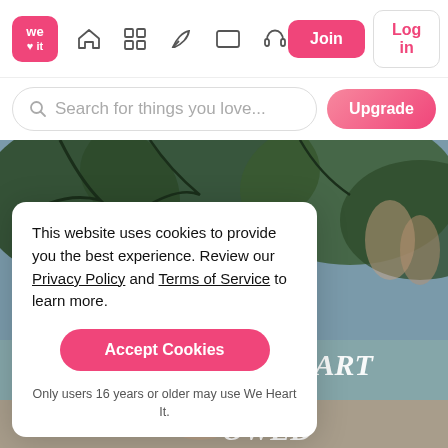We Heart It navigation bar with logo, icons, Join and Log in buttons
Search for things you love...
[Figure (screenshot): Hero image showing trees and people reflected, with italic overlay text '...UR HEART YOUR ...OWED']
This website uses cookies to provide you the best experience. Review our Privacy Policy and Terms of Service to learn more.
Accept Cookies
Only users 16 years or older may use We Heart It.